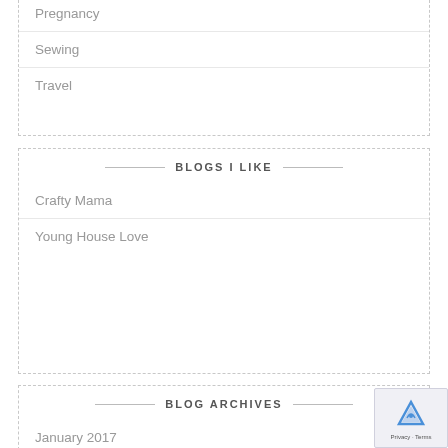Pregnancy
Sewing
Travel
BLOGS I LIKE
Crafty Mama
Young House Love
BLOG ARCHIVES
January 2017
December 2016